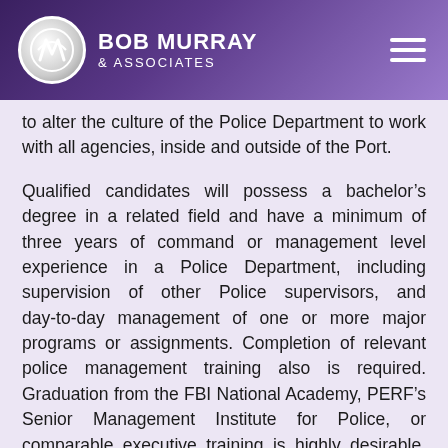Bob Murray & Associates
to alter the culture of the Police Department to work with all agencies, inside and outside of the Port.
Qualified candidates will possess a bachelor’s degree in a related field and have a minimum of three years of command or management level experience in a Police Department, including supervision of other Police supervisors, and day-to-day management of one or more major programs or assignments. Completion of relevant police management training also is required. Graduation from the FBI National Academy, PERF’s Senior Management Institute for Police, or comparable executive training is highly desirable. The annual salary range for the incoming Chief of Police is dependent upon qualifications. The Port also offers an attractive benefits package.